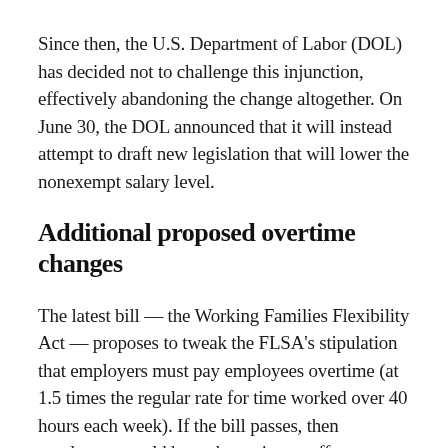Since then, the U.S. Department of Labor (DOL) has decided not to challenge this injunction, effectively abandoning the change altogether. On June 30, the DOL announced that it will instead attempt to draft new legislation that will lower the nonexempt salary level.
Additional proposed overtime changes
The latest bill — the Working Families Flexibility Act — proposes to tweak the FLSA's stipulation that employers must pay employees overtime (at 1.5 times the regular rate for time worked over 40 hours each week). If the bill passes, then employers would have the option to offer non-exempt employees compensatory time off (banked at the rate of 1.5 times the number of overtime hours worked, up to 160 hours) in lieu